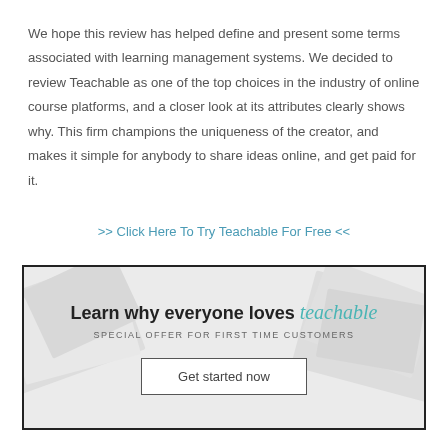We hope this review has helped define and present some terms associated with learning management systems. We decided to review Teachable as one of the top choices in the industry of online course platforms, and a closer look at its attributes clearly shows why. This firm champions the uniqueness of the creator, and makes it simple for anybody to share ideas online, and get paid for it.
>> Click Here To Try Teachable For Free <<
[Figure (other): Teachable advertisement banner with text 'Learn why everyone loves teachable', 'SPECIAL OFFER FOR FIRST TIME CUSTOMERS', and a 'Get started now' button on a light grey background with subtle paper/document background imagery.]